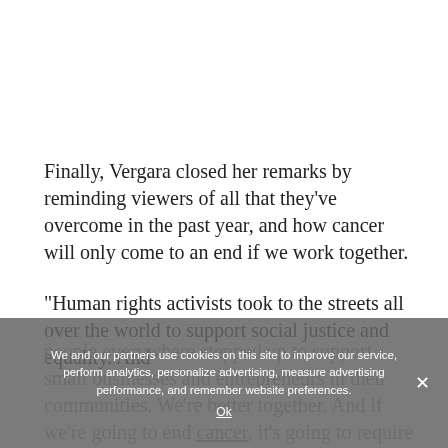Finally, Vergara closed her remarks by reminding viewers of all that they've overcome in the past year, and how cancer will only come to an end if we work together.
“Human rights activists took to the streets all over the world to support social justice and equality. And people everywhere stepped up to support small businesses and entrepreneurs in their communities. We’re better together. And if we’re going to end cancer, it’s going to require a team effort,” she said.
We and our partners use cookies on this site to improve our service, perform analytics, personalize advertising, measure advertising performance, and remember website preferences.
Ok